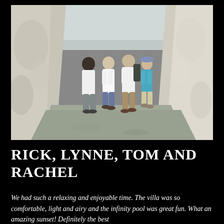[Figure (photo): Four people (two adults and two teenagers/children) standing together on a rocky gorge path. They are wearing casual summer clothes — white shirts, shorts. The gorge walls are white limestone rock on both sides. The ground is sandy/stony. The photo appears to be taken outdoors in a natural canyon or gorge setting.]
RICK, LYNNE, TOM AND RACHEL
We had such a relaxing and enjoyable time. The villa was so comfortable, light and airy and the infinity pool was great fun. What an amazing sunset! Definitely the best